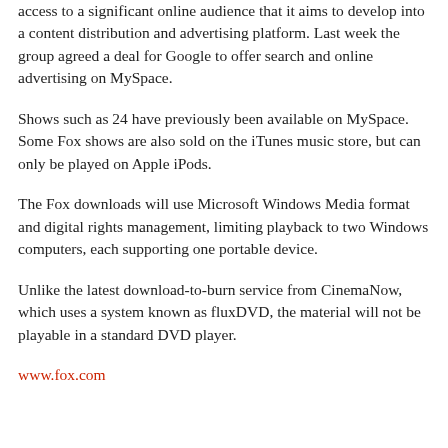access to a significant online audience that it aims to develop into a content distribution and advertising platform. Last week the group agreed a deal for Google to offer search and online advertising on MySpace.
Shows such as 24 have previously been available on MySpace. Some Fox shows are also sold on the iTunes music store, but can only be played on Apple iPods.
The Fox downloads will use Microsoft Windows Media format and digital rights management, limiting playback to two Windows computers, each supporting one portable device.
Unlike the latest download-to-burn service from CinemaNow, which uses a system known as fluxDVD, the material will not be playable in a standard DVD player.
www.fox.com